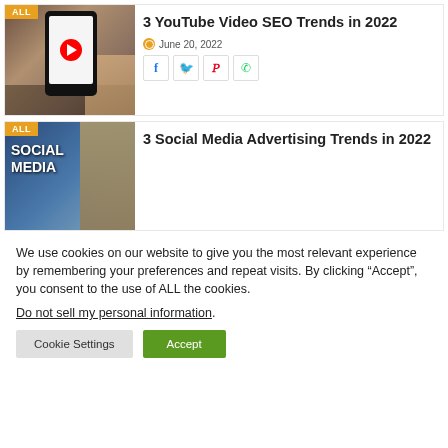[Figure (photo): Card with phone showing YouTube app, labeled ALL badge, title '3 YouTube Video SEO Trends in 2022', date June 20 2022, social share icons]
3 YouTube Video SEO Trends in 2022
June 20, 2022
[Figure (photo): Card with Social Media magazine/book image with person in background, labeled ALL badge, title '3 Social Media Advertising Trends in 2022']
3 Social Media Advertising Trends in 2022
We use cookies on our website to give you the most relevant experience by remembering your preferences and repeat visits. By clicking “Accept”, you consent to the use of ALL the cookies.
Do not sell my personal information.
Cookie Settings    Accept